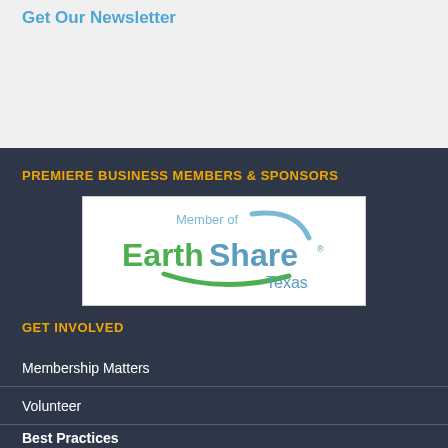Get Our Newsletter
PREMIERE BUSINESS MEMBERS & SPONSORS
[Figure (logo): Member of EarthShare Texas logo — white background with green and blue EarthShare wordmark and circular swoosh design, 'Member of' in light blue text above, 'Texas' in steel blue text below right]
GET INVOLVED
Membership Matters
Volunteer
Best Practices